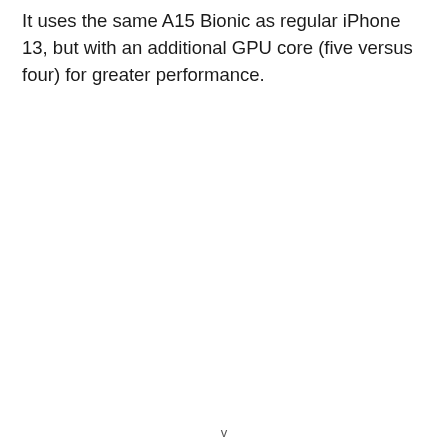It uses the same A15 Bionic as regular iPhone 13, but with an additional GPU core (five versus four) for greater performance.
v